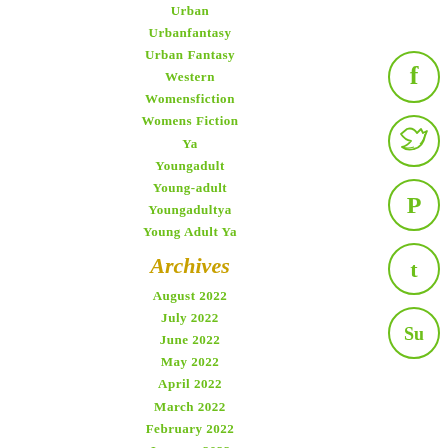Urban
Urbanfantasy
Urban Fantasy
Western
Womensfiction
Womens Fiction
Ya
Youngadult
Young-adult
Youngadultya
Young Adult Ya
Archives
August 2022
July 2022
June 2022
May 2022
April 2022
March 2022
February 2022
January 2022
December 2021
[Figure (infographic): Social media icons: Facebook, Twitter, Pinterest, Tumblr, StumbleUpon — circular green outlines on white background]